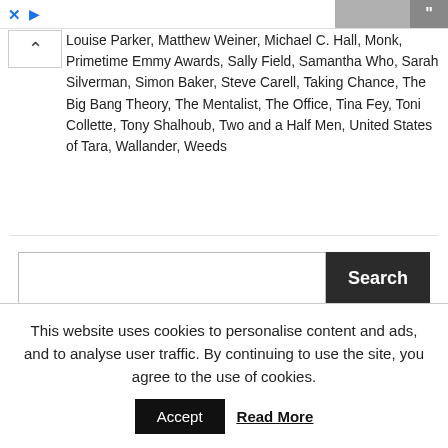[Figure (screenshot): Ad bar at top with close (X) and play button icons on left, partial image thumbnails on right]
Louise Parker, Matthew Weiner, Michael C. Hall, Monk, Primetime Emmy Awards, Sally Field, Samantha Who, Sarah Silverman, Simon Baker, Steve Carell, Taking Chance, The Big Bang Theory, The Mentalist, The Office, Tina Fey, Toni Collette, Tony Shalhoub, Two and a Half Men, United States of Tara, Wallander, Weeds
Search [input box]
This website uses cookies to personalise content and ads, and to analyse user traffic. By continuing to use the site, you agree to the use of cookies. Accept Read More